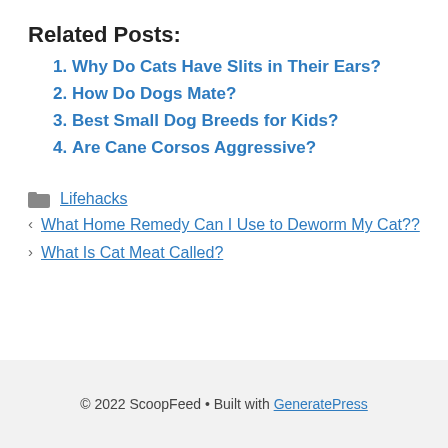Related Posts:
Why Do Cats Have Slits in Their Ears?
How Do Dogs Mate?
Best Small Dog Breeds for Kids?
Are Cane Corsos Aggressive?
Lifehacks
< What Home Remedy Can I Use to Deworm My Cat??
> What Is Cat Meat Called?
© 2022 ScoopFeed • Built with GeneratePress